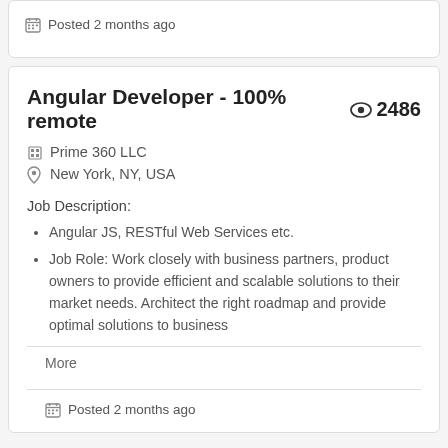Posted 2 months ago
Angular Developer - 100% remote
Prime 360 LLC
New York, NY, USA
Job Description:
Angular JS, RESTful Web Services etc.
Job Role: Work closely with business partners, product owners to provide efficient and scalable solutions to their market needs. Architect the right roadmap and provide optimal solutions to business
More
Posted 2 months ago